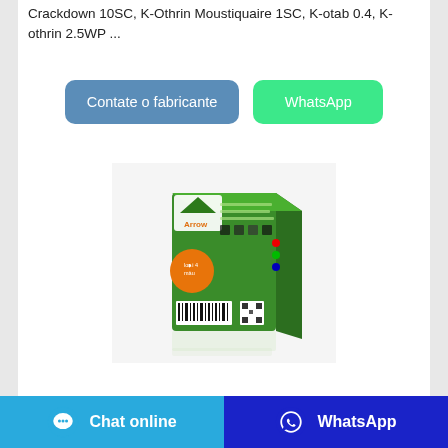Crackdown 10SC, K-Othrin Moustiquaire 1SC, K-otab 0.4, K-othrin 2.5WP ...
[Figure (other): Two buttons: 'Contate o fabricante' (blue) and 'WhatsApp' (green)]
[Figure (photo): Product photo: a green insecticide box (Arrow brand) shown from the back, on a white background with a faint reflection below.]
nhang tr mu i mosfly noir
[Figure (other): Footer bar with two buttons: 'Chat online' (light blue, with chat bubble icon) and 'WhatsApp' (dark blue, with WhatsApp icon)]